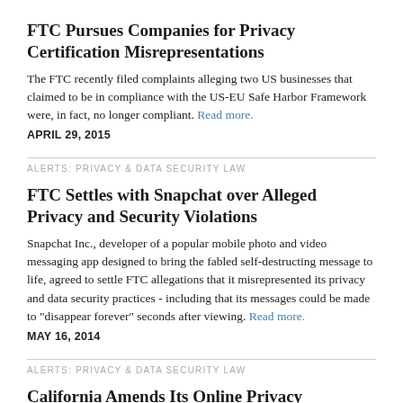FTC Pursues Companies for Privacy Certification Misrepresentations
The FTC recently filed complaints alleging two US businesses that claimed to be in compliance with the US-EU Safe Harbor Framework were, in fact, no longer compliant. Read more.
APRIL 29, 2015
ALERTS: PRIVACY & DATA SECURITY LAW
FTC Settles with Snapchat over Alleged Privacy and Security Violations
Snapchat Inc., developer of a popular mobile photo and video messaging app designed to bring the fabled self-destructing message to life, agreed to settle FTC allegations that it misrepresented its privacy and data security practices - including that its messages could be made to "disappear forever" seconds after viewing. Read more.
MAY 16, 2014
ALERTS: PRIVACY & DATA SECURITY LAW
California Amends Its Online Privacy Protection Act